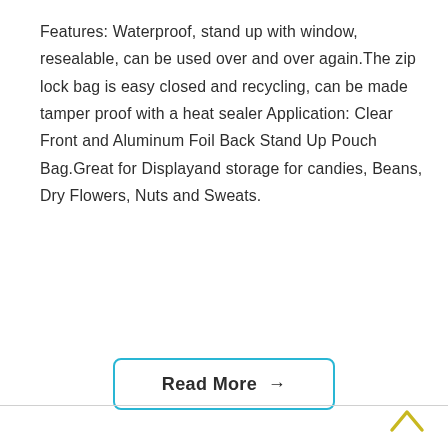Features: Waterproof, stand up with window, resealable, can be used over and over again.The zip lock bag is easy closed and recycling, can be made tamper proof with a heat sealer Application: Clear Front and Aluminum Foil Back Stand Up Pouch Bag.Great for Displayand storage for candies, Beans, Dry Flowers, Nuts and Sweats.
Read More →